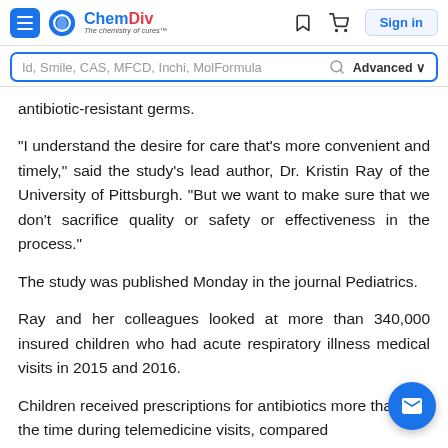ChemDiv - The chemistry of cures
antibiotic-resistant germs.
“I understand the desire for care that’s more convenient and timely,” said the study’s lead author, Dr. Kristin Ray of the University of Pittsburgh. “But we want to make sure that we don’t sacrifice quality or safety or effectiveness in the process.”
The study was published Monday in the journal Pediatrics.
Ray and her colleagues looked at more than 340,000 insured children who had acute respiratory illness medical visits in 2015 and 2016.
Children received prescriptions for antibiotics more than half the time during telemedicine visits, compared